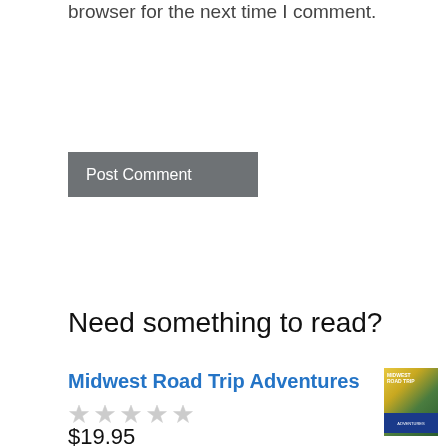browser for the next time I comment.
Post Comment
Need something to read?
Midwest Road Trip Adventures
$19.95
[Figure (illustration): Book cover for Midwest Road Trip Adventures]